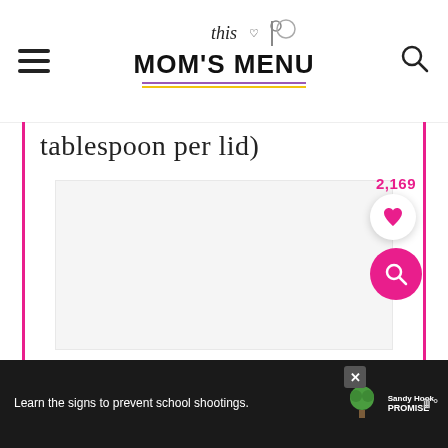This Mom's Menu
tablespoon per lid)
[Figure (photo): Large white/light gray image placeholder area for a recipe photo]
2,169
[Figure (other): Heart button (favorites) and pink search button overlaid on right side]
Learn the signs to prevent school shootings. Sandy Hook Promise